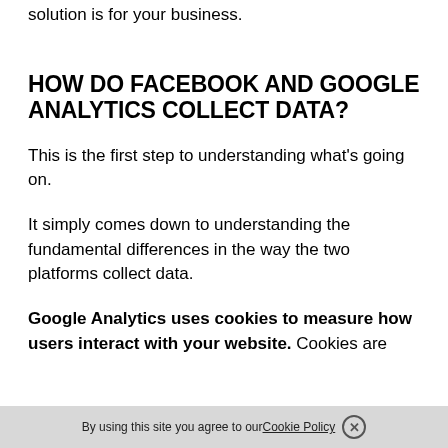solution is for your business.
HOW DO FACEBOOK AND GOOGLE ANALYTICS COLLECT DATA?
This is the first step to understanding what's going on.
It simply comes down to understanding the fundamental differences in the way the two platforms collect data.
Google Analytics uses cookies to measure how users interact with your website. Cookies are
By using this site you agree to our Cookie Policy ×